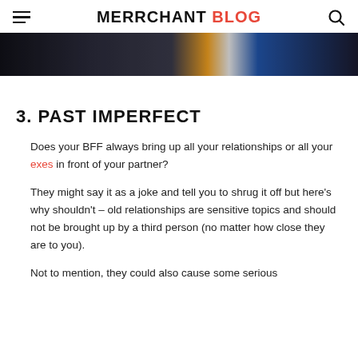MERRCHANT Blog
[Figure (photo): Partial cropped photo showing a person in a dark outfit, with orange and blue elements visible]
3. PAST IMPERFECT
Does your BFF always bring up all your relationships or all your exes in front of your partner?
They might say it as a joke and tell you to shrug it off but here's why shouldn't – old relationships are sensitive topics and should not be brought up by a third person (no matter how close they are to you).
Not to mention, they could also cause some serious